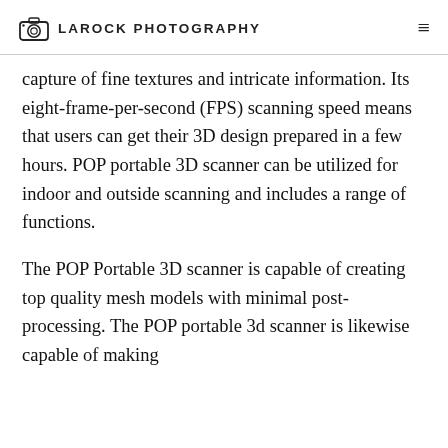LAROCK PHOTOGRAPHY
capture of fine textures and intricate information. Its eight-frame-per-second (FPS) scanning speed means that users can get their 3D design prepared in a few hours. POP portable 3D scanner can be utilized for indoor and outside scanning and includes a range of functions.
The POP Portable 3D scanner is capable of creating top quality mesh models with minimal post-processing. The POP portable 3d scanner is likewise capable of making